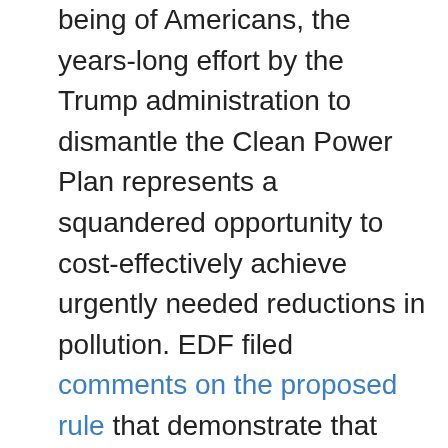being of Americans, the years-long effort by the Trump administration to dismantle the Clean Power Plan represents a squandered opportunity to cost-effectively achieve urgently needed reductions in pollution. EDF filed comments on the proposed rule that demonstrate that fact. Our updated analysis using the same power sector model that EPA relies upon shows that carbon pollution reductions of more than 50 percent below 2005 levels in 2030 are possible at similar costs to what the original Clean Power Plan envisioned. The U.S. Energy Information Administration has also found that even greater reductions of 68 percent below 2005 levels can be achieved by